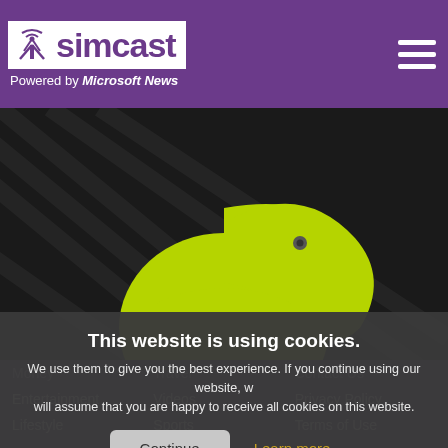[Figure (logo): Simcast logo with antenna icon and purple background, 'Powered by Microsoft News' tagline]
[Figure (photo): Dark background with yellow-green kiwi bird silhouette logo. Headline overlay: 'Kiwi Farms Dropped By Russian Provider In Less Than 24 Hours']
This website is using cookies. We use them to give you the best experience. If you continue using our website, we will assume that you are happy to receive all cookies on this website.
Continue | Learn more
Money   Travel   Contact Us
Entertainment   Videos   Privacy Policy
Lifestyle   Sports   Terms of Use